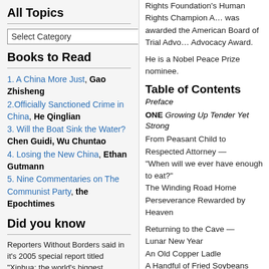All Topics
Select Category
Books to Read
1. A China More Just, Gao Zhisheng
2. Officially Sanctioned Crime in China, He Qinglian
3. Will the Boat Sink the Water? Chen Guidi, Wu Chuntao
4. Losing the New China, Ethan Gutmann
5. Nine Commentaries on The Communist Party, the Epochtimes
Did you know
Reporters Without Borders said in it's 2005 special report titled "Xinhua: the world's biggest propaganda agency", that "Xinhua remains the voice of the sole party", "particularly during the SARS epidemic, Xinhua has for last few months been putting out news reports embarrassing to the government, but they are designed to fool the international community, since they are not
Rights Foundation's Human Rights Champion Award was awarded the American Board of Trial Advocacy Advocacy Award.
He is a Nobel Peace Prize nominee.
Table of Contents
Preface
ONE Growing Up Tender Yet Strong
From Peasant Child to Respected Attorney — "When will we ever have enough to eat?" The Winding Road Home Perseverance Rewarded by Heaven
Returning to the Cave — Lunar New Year An Old Copper Ladle A Handful of Fried Soybeans My Common-Folk Mother
TWO A Lonely Mission
The Plight of China's Lawyers Behind Each Case, Systemic Problems A Loner's Solitude